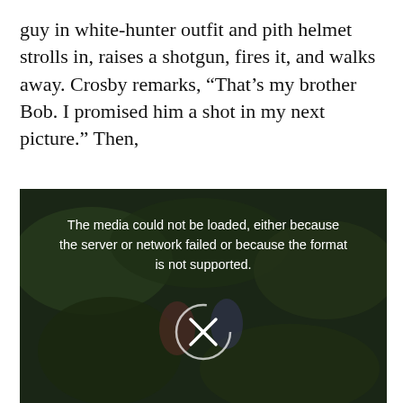guy in white-hunter outfit and pith helmet strolls in, raises a shotgun, fires it, and walks away. Crosby remarks, “That’s my brother Bob. I promised him a shot in my next picture.” Then,
[Figure (screenshot): A video player showing a dark, nature/outdoor scene with two figures visible. The video failed to load and displays an error message: 'The media could not be loaded, either because the server or network failed or because the format is not supported.' A circle with an X icon is shown in the center of the player.]